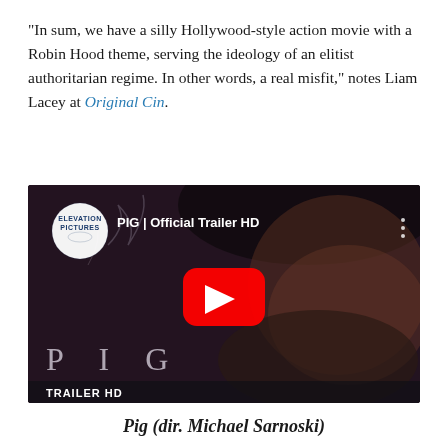“In sum, we have a silly Hollywood-style action movie with a Robin Hood theme, serving the ideology of an elitist authoritarian regime. In other words, a real misfit,” notes Liam Lacey at Original Cin.
[Figure (screenshot): YouTube video thumbnail for 'PIG | Official Trailer HD' by Elevation Pictures, showing a close-up of a bearded man's face with a red YouTube play button centered on the image. The word PIG appears in large letters at the bottom left, and TRAILER HD appears in white bold text at the bottom.]
Pig (dir. Michael Sarnoski)